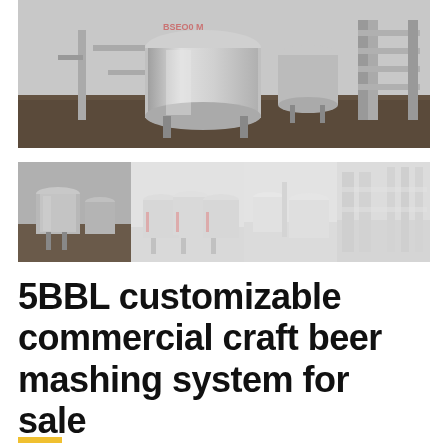[Figure (photo): Large stainless steel commercial brewing tanks and equipment in a brewery facility, showing fermentation vessels, pipes, and industrial brewing hardware on a dark floor.]
[Figure (photo): A row of four thumbnail images showing various angles of commercial craft beer brewing systems and equipment including mash tuns, fermenters, and brewery interiors.]
5BBL customizable commercial craft beer mashing system for sale